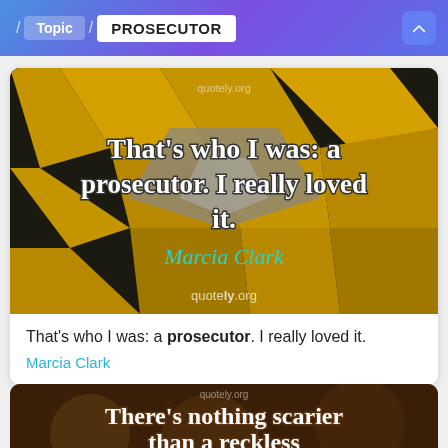/ Topic / PROSECUTOR
[Figure (photo): Quote image with geometric yellow cubic architecture background showing text: 'That's who I was: a prosecutor. I really loved it.' attributed to Marcia Clark, with quotely.org watermark]
That's who I was: a prosecutor. I really loved it.
Marcia Clark
[Figure (photo): Partial quote image with dark brown bokeh background showing text: 'There's nothing scarier than a reckless...' (cut off)]